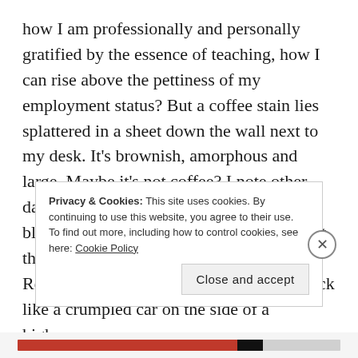how I am professionally and personally gratified by the essence of teaching, how I can rise above the pettiness of my employment status? But a coffee stain lies splattered in a sheet down the wall next to my desk. It’s brownish, amorphous and large. Maybe it’s not coffee? I note other, darker droplets that resemble blood. Not blood, I’m sure, but even so, when I look at them, I feel a thickness in my throat. Revolted, I turn away, but they lure me back like a crumpled car on the side of a highway.
Privacy & Cookies: This site uses cookies. By continuing to use this website, you agree to their use.
To find out more, including how to control cookies, see here: Cookie Policy
Close and accept